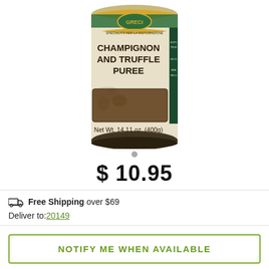[Figure (photo): A can of Greci Champignon and Truffle Puree, Net Wt. 14.11 oz. (400g), with green and gold label showing mushroom imagery.]
$ 10.95
Free Shipping over $69
Deliver to: 20149
NOTIFY ME WHEN AVAILABLE